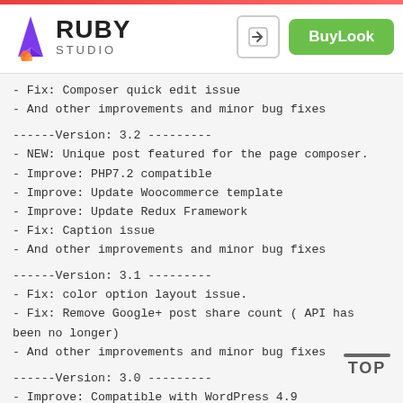RUBY STUDIO | BuyLook
- Fix: Composer quick edit issue
- And other improvements and minor bug fixes
------Version: 3.2 ---------
- NEW: Unique post featured for the page composer.
- Improve: PHP7.2 compatible
- Improve: Update Woocommerce template
- Improve: Update Redux Framework
- Fix: Caption issue
- And other improvements and minor bug fixes
------Version: 3.1 ---------
- Fix: color option layout issue.
- Fix: Remove Google+ post share count ( API has been no longer)
- And other improvements and minor bug fixes
------Version: 3.0 ---------
- Improve: Compatible with WordPress 4.9
- And other improvements and minor bug fixes